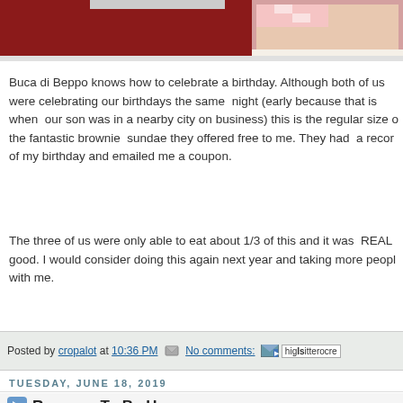[Figure (photo): Top banner image showing red/maroon background with food photos on the right side, partially cropped]
Buca di Beppo knows how to celebrate a birthday. Although both of us were celebrating our birthdays the same night (early because that is when our son was in a nearby city on business) this is the regular size of the fantastic brownie sundae they offered free to me. They had a record of my birthday and emailed me a coupon.
The three of us were only able to eat about 1/3 of this and it was REALLY good. I would consider doing this again next year and taking more people with me.
Posted by cropalot at 10:36 PM  No comments:
TUESDAY, JUNE 18, 2019
Reasons To Be Happy
[Figure (photo): Pink background with decorative black ornate picture frame with floral details, partially showing. Text reads 'There are so many']